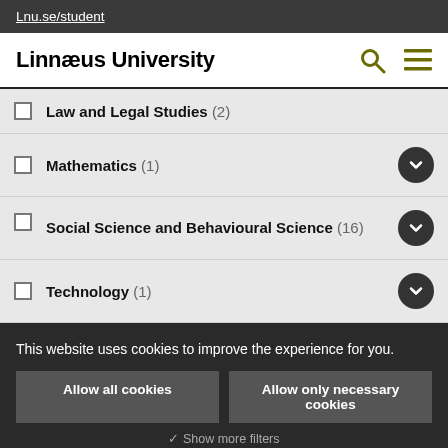Lnu.se/student
Linnaeus University
Law and Legal Studies (2)
Mathematics (1)
Social Science and Behavioural Science (16)
Technology (1)
This website uses cookies to improve the experience for you.
Allow all cookies
Allow only necessary cookies
Show more filters
Read more about cookies